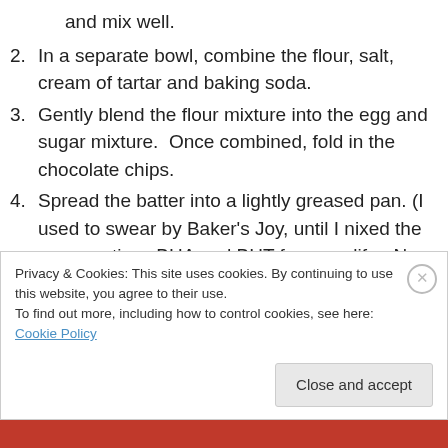and mix well.
2. In a separate bowl, combine the flour, salt, cream of tartar and baking soda.
3. Gently blend the flour mixture into the egg and sugar mixture.  Once combined, fold in the chocolate chips.
4. Spread the batter into a lightly greased pan. (I used to swear by Baker's Joy, until I nixed the preservatives BHA and BHT from my life.  Now I use Spectrum Naturals brand Canola Spray with Flour for a quick and easy dusting.)  The batter is very thick, so I have to push it to the sides of the pan and smooth it out the
Privacy & Cookies: This site uses cookies. By continuing to use this website, you agree to their use. To find out more, including how to control cookies, see here: Cookie Policy